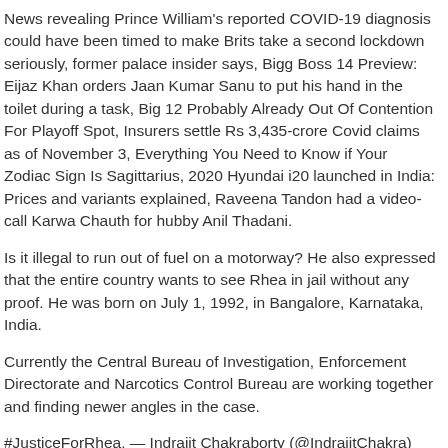News revealing Prince William's reported COVID-19 diagnosis could have been timed to make Brits take a second lockdown seriously, former palace insider says, Bigg Boss 14 Preview: Eijaz Khan orders Jaan Kumar Sanu to put his hand in the toilet during a task, Big 12 Probably Already Out Of Contention For Playoff Spot, Insurers settle Rs 3,435-crore Covid claims as of November 3, Everything You Need to Know if Your Zodiac Sign Is Sagittarius, 2020 Hyundai i20 launched in India: Prices and variants explained, Raveena Tandon had a video-call Karwa Chauth for hubby Anil Thadani.
Is it illegal to run out of fuel on a motorway? He also expressed that the entire country wants to see Rhea in jail without any proof. He was born on July 1, 1992, in Bangalore, Karnataka, India.
Currently the Central Bureau of Investigation, Enforcement Directorate and Narcotics Control Bureau are working together and finding newer angles in the case.
#JusticeForRhea, — Indrajit Chakraborty (@IndrajitChakra)